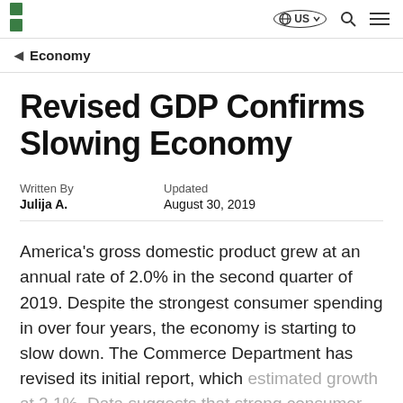Economy
Revised GDP Confirms Slowing Economy
Written By
Julija A.
Updated
August 30, 2019
America's gross domestic product grew at an annual rate of 2.0% in the second quarter of 2019. Despite the strongest consumer spending in over four years, the economy is starting to slow down. The Commerce Department has revised its initial report, which estimated growth at 2.1%. Data suggests that strong consumer spending was offset by smaller inventory